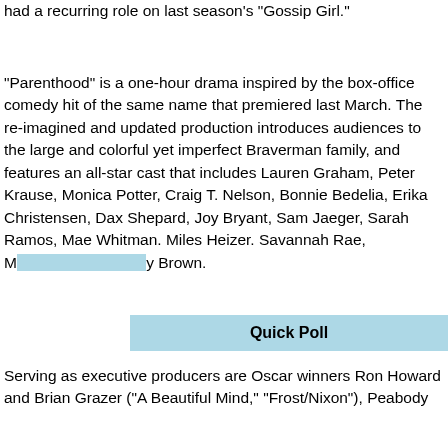had a recurring role on last season's "Gossip Girl."
"Parenthood" is a one-hour drama inspired by the box-office comedy hit of the same name that premiered last March. The re-imagined and updated production introduces audiences to the large and colorful yet imperfect Braverman family, and features an all-star cast that includes Lauren Graham, Peter Krause, Monica Potter, Craig T. Nelson, Bonnie Bedelia, Erika Christensen, Dax Shepard, Joy Bryant, Sam Jaeger, Sarah Ramos, Mae Whitman. Miles Heizer. Savannah Rae, M[...] [...] Brown.
Serving as executive producers are Oscar winners Ron Howard and Brian Grazer ("A Beautiful Mind," "Frost/Nixon"), Peabody